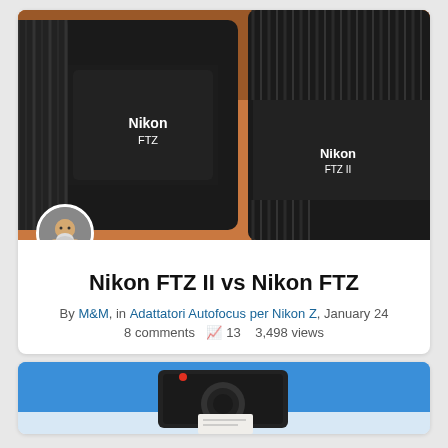[Figure (photo): Close-up photo of two Nikon lens mount adapters side by side: Nikon FTZ (left) and Nikon FTZ II (right), against an orange/brown background, with a circular avatar of a bearded man overlaid at lower left]
Nikon FTZ II vs Nikon FTZ
By M&M, in Adattatori Autofocus per Nikon Z, January 24
8 comments  📈 13   3,498 views
[Figure (photo): Partial photo of a camera body (likely Sony or similar mirrorless) on a blue and white background, cropped at bottom of page]